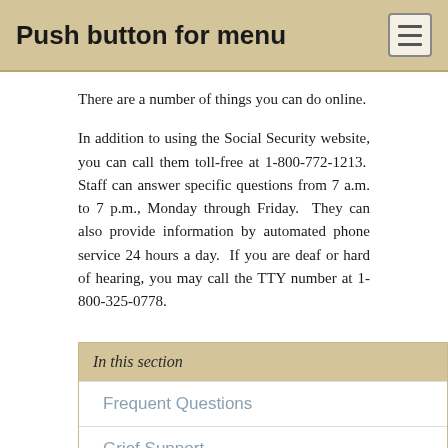Push button for menu
There are a number of things you can do online.
In addition to using the Social Security website, you can call them toll-free at 1-800-772-1213.  Staff can answer specific questions from 7 a.m. to 7 p.m., Monday through Friday.  They can also provide information by automated phone service 24 hours a day.  If you are deaf or hard of hearing, you may call the TTY number at 1-800-325-0778.
In this section
Frequent Questions
Grief Support
Social Security Benefits